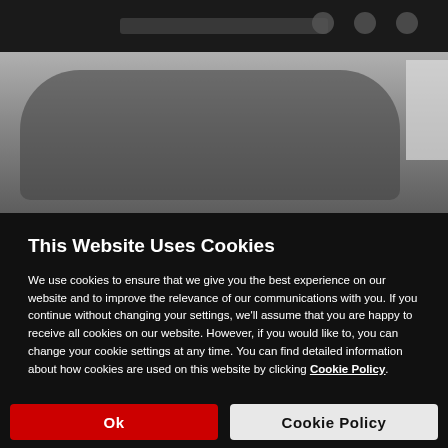[Figure (screenshot): Blurred dark background showing a website header with dark top navigation bar and a blurred car interior or exterior image below]
This Website Uses Cookies
We use cookies to ensure that we give you the best experience on our website and to improve the relevance of our communications with you. If you continue without changing your settings, we'll assume that you are happy to receive all cookies on our website. However, if you would like to, you can change your cookie settings at any time. You can find detailed information about how cookies are used on this website by clicking Cookie Policy.